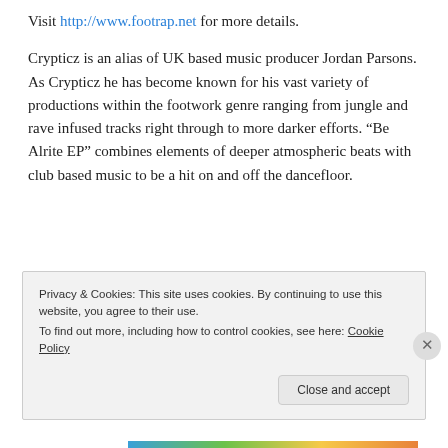Visit http://www.footrap.net for more details.

Crypticz is an alias of UK based music producer Jordan Parsons. As Crypticz he has become known for his vast variety of productions within the footwork genre ranging from jungle and rave infused tracks right through to more darker efforts. “Be Alrite EP” combines elements of deeper atmospheric beats with club based music to be a hit on and off the dancefloor.
[Figure (photo): Dark navy background image with dotted circle logo reading 'CROWD' on the right side]
Privacy & Cookies: This site uses cookies. By continuing to use this website, you agree to their use.
To find out more, including how to control cookies, see here: Cookie Policy